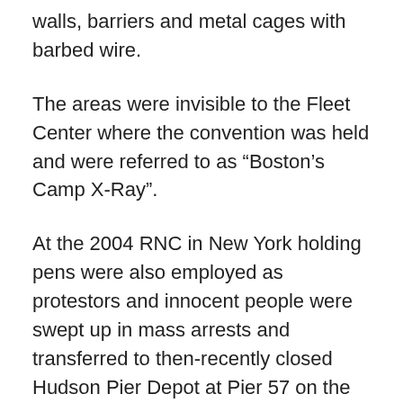walls, barriers and metal cages with barbed wire.
The areas were invisible to the Fleet Center where the convention was held and were referred to as “Boston’s Camp X-Ray”.
At the 2004 RNC in New York holding pens were also employed as protestors and innocent people were swept up in mass arrests and transferred to then-recently closed Hudson Pier Depot at Pier 57 on the Hudson River in Manhattan.
[Figure (photo): Broken/missing image placeholder]
The facility was quickly dubbed “Little Gitmo” as thousands were bound and paraded into a large